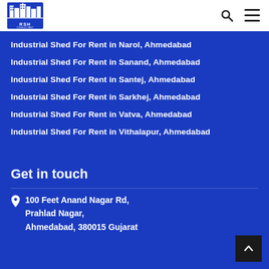[Figure (logo): RSH Consultant logo - blue building icon with RSH text]
Industrial Shed For Rent in Narol, Ahmedabad
Industrial Shed For Rent in Sanand, Ahmedabad
Industrial Shed For Rent in Santej, Ahmedabad
Industrial Shed For Rent in Sarkhej, Ahmedabad
Industrial Shed For Rent in Vatva, Ahmedabad
Industrial Shed For Rent in Vithalapur, Ahmedabad
Get in touch
100 Feet Anand Nagar Rd,
Prahlad Nagar,
Ahmedabad, 380015 Gujarat